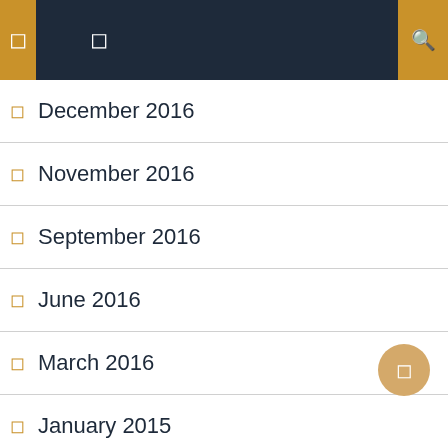Navigation header with menu icons and search
December 2016
November 2016
September 2016
June 2016
March 2016
January 2015
October 2014
August 2014
July 2014
May 2014